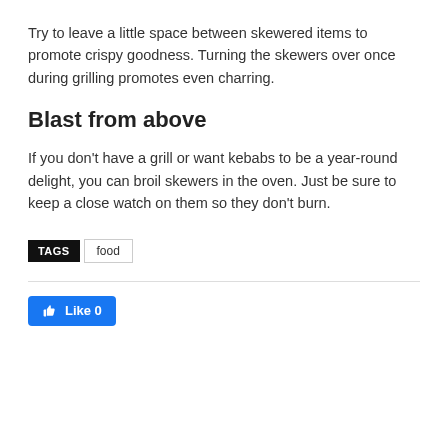Try to leave a little space between skewered items to promote crispy goodness. Turning the skewers over once during grilling promotes even charring.
Blast from above
If you don't have a grill or want kebabs to be a year-round delight, you can broil skewers in the oven. Just be sure to keep a close watch on them so they don't burn.
TAGS  food
[Figure (other): Facebook Like button showing thumbs up icon and Like 0 text on blue background]